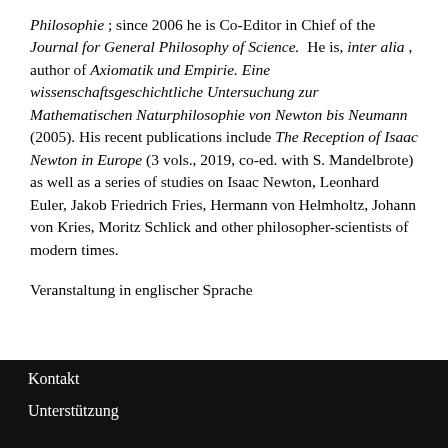Philosophie; since 2006 he is Co-Editor in Chief of the Journal for General Philosophy of Science. He is, inter alia, author of Axiomatik und Empirie. Eine wissenschaftsgeschichtliche Untersuchung zur Mathematischen Naturphilosophie von Newton bis Neumann (2005). His recent publications include The Reception of Isaac Newton in Europe (3 vols., 2019, co-ed. with S. Mandelbrote) as well as a series of studies on Isaac Newton, Leonhard Euler, Jakob Friedrich Fries, Hermann von Helmholtz, Johann von Kries, Moritz Schlick and other philosopher-scientists of modern times.
Veranstaltung in englischer Sprache
Kontakt
Unterstützung